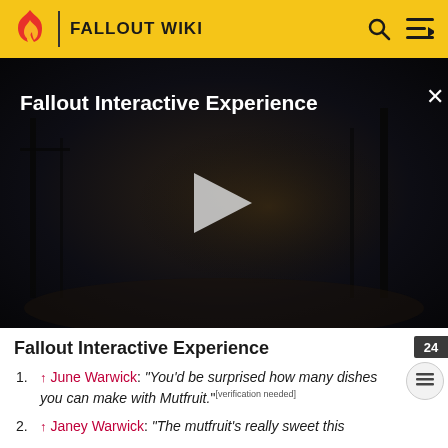FALLOUT WIKI
[Figure (screenshot): Dark post-apocalyptic video still with text overlay 'Fallout Interactive Experience', a white play button triangle in the center, and a close (×) button top right]
Fallout Interactive Experience
↑ June Warwick: "You'd be surprised how many dishes you can make with Mutfruit."[verification needed]
↑ Janey Warwick: "The mutfruit's really sweet this